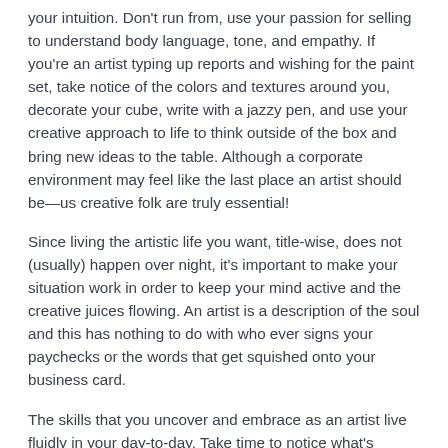your intuition. Don't run from, use your passion for selling to understand body language, tone, and empathy. If you're an artist typing up reports and wishing for the paint set, take notice of the colors and textures around you, decorate your cube, write with a jazzy pen, and use your creative approach to life to think outside of the box and bring new ideas to the table. Although a corporate environment may feel like the last place an artist should be—us creative folk are truly essential!
Since living the artistic life you want, title-wise, does not (usually) happen over night, it's important to make your situation work in order to keep your mind active and the creative juices flowing. An artist is a description of the soul and this has nothing to do with who ever signs your paychecks or the words that get squished onto your business card.
The skills that you uncover and embrace as an artist live fluidly in your day-to-day. Take time to notice what's around you and all of the beautiful artistic idiosyncrasies you bring to the table and no matter what your situation, you will find the beauty and creativity in life which will only lead you to great things.